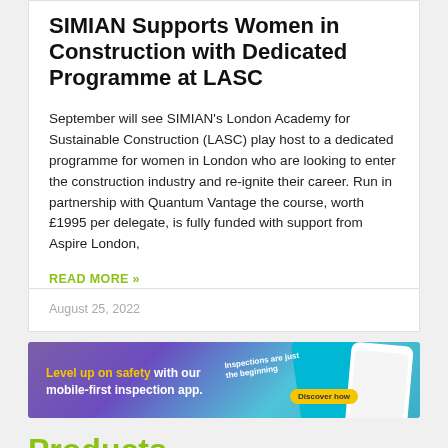SIMIAN Supports Women in Construction with Dedicated Programme at LASC
September will see SIMIAN's London Academy for Sustainable Construction (LASC) play host to a dedicated programme for women in London who are looking to enter the construction industry and re-ignite their career. Run in partnership with Quantum Vantage the course, worth £1995 per delegate, is fully funded with support from Aspire London,
READ MORE »
August 25, 2022
[Figure (photo): Banner advertisement: 'Level up on safety with our mobile-first inspection app.' on a purple/cyan background with phone mockups and a yellow 'Discover how' button.]
Products